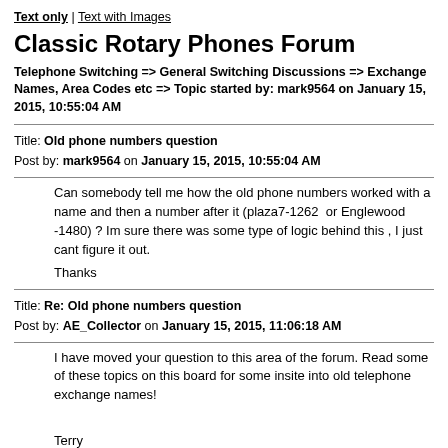Text only | Text with Images
Classic Rotary Phones Forum
Telephone Switching => General Switching Discussions => Exchange Names, Area Codes etc => Topic started by: mark9564 on January 15, 2015, 10:55:04 AM
Title: Old phone numbers question
Post by: mark9564 on January 15, 2015, 10:55:04 AM
Can somebody tell me how the old phone numbers worked with a name and then a number after it (plaza7-1262  or Englewood -1480) ? Im sure there was some type of logic behind this , I just cant figure it out.
Thanks
Title: Re: Old phone numbers question
Post by: AE_Collector on January 15, 2015, 11:06:18 AM
I have moved your question to this area of the forum. Read some of these topics on this board for some insite into old telephone exchange names!

Terry